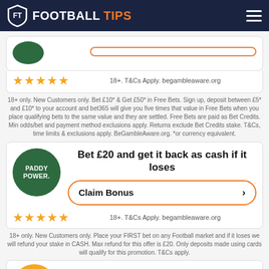FOOTBALL TIPS
18+. T&Cs Apply. begambleaware.org
18+ only. New Customers only. Bet £10* & Get £50* in Free Bets. Sign up, deposit between £5* and £10* to your account and bet365 will give you five times that value in Free Bets when you place qualifying bets to the same value and they are settled. Free Bets are paid as Bet Credits. Min odds/bet and payment method exclusions apply. Returns exclude Bet Credits stake. T&Cs, time limits & exclusions apply. BeGambleAware.org. *or currency equivalent.
Bet £20 and get it back as cash if it loses
Claim Bonus
18+. T&Cs Apply. begambleaware.org
18+ only. New Customers only. Place your FIRST bet on any Football market and if it loses we will refund your stake in CASH. Max refund for this offer is £20. Only deposits made using cards will qualify for this promotion. T&Cs apply.
Get a £20 free bet when you place £50 worth of bets. Repeat